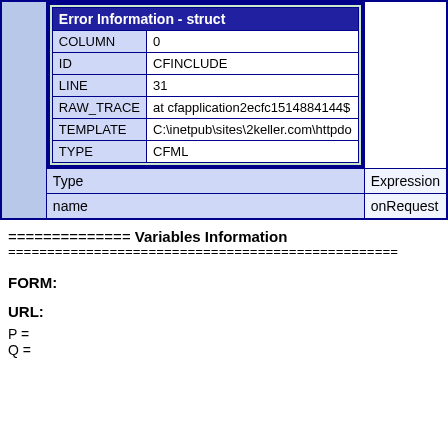| Error Information - struct |
| --- |
| COLUMN | 0 |
| ID | CFINCLUDE |
| LINE | 31 |
| RAW_TRACE | at cfapplication2ecfc1514884144$ |
| TEMPLATE | C:\inetpub\sites\2keller.com\httpdo |
| TYPE | CFML |
| Type | Expression |
| name | onRequest |
============== Variables Information
==================================================
FORM:
URL:
P =
Q =